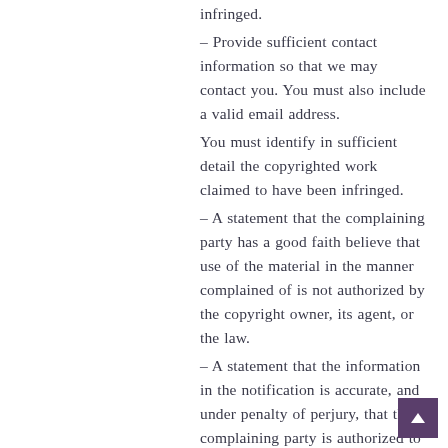infringed.
– Provide sufficient contact information so that we may contact you. You must also include a valid email address.
You must identify in sufficient detail the copyrighted work claimed to have been infringed.
– A statement that the complaining party has a good faith believe that use of the material in the manner complained of is not authorized by the copyright owner, its agent, or the law.
– A statement that the information in the notification is accurate, and under penalty of perjury, that the complaining party is authorized to act on behalf of the owner of an exclusive right that is allegedly infringed.
– Must be signed by the authorized